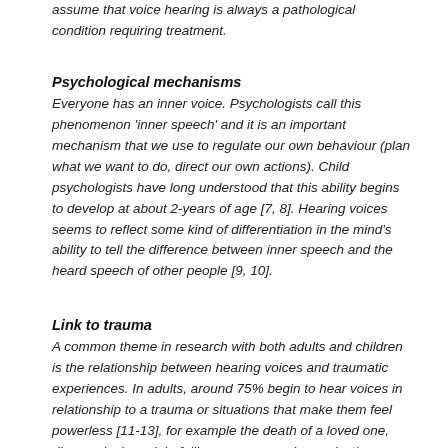assume that voice hearing is always a pathological condition requiring treatment.
Psychological mechanisms
Everyone has an inner voice. Psychologists call this phenomenon 'inner speech' and it is an important mechanism that we use to regulate our own behaviour (plan what we want to do, direct our own actions). Child psychologists have long understood that this ability begins to develop at about 2-years of age [7, 8]. Hearing voices seems to reflect some kind of differentiation in the mind's ability to tell the difference between inner speech and the heard speech of other people [9, 10].
Link to trauma
A common theme in research with both adults and children is the relationship between hearing voices and traumatic experiences. In adults, around 75% begin to hear voices in relationship to a trauma or situations that make them feel powerless [11-13], for example the death of a loved one, divorce, losing a job, failing an exam, or longer lasting traumas such as